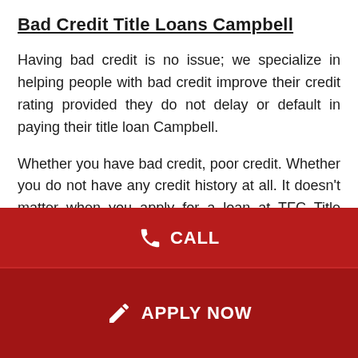Bad Credit Title Loans Campbell
Having bad credit is no issue; we specialize in helping people with bad credit improve their credit rating provided they do not delay or default in paying their title loan Campbell.
Whether you have bad credit, poor credit. Whether you do not have any credit history at all. It doesn't matter when you apply for a loan at TFC Title Loans.
Conclusion For Title Loans Campbell
[Figure (infographic): Red call-to-action bar with phone icon and text CALL]
[Figure (infographic): Darker red apply-now bar with edit/apply icon and text APPLY NOW]